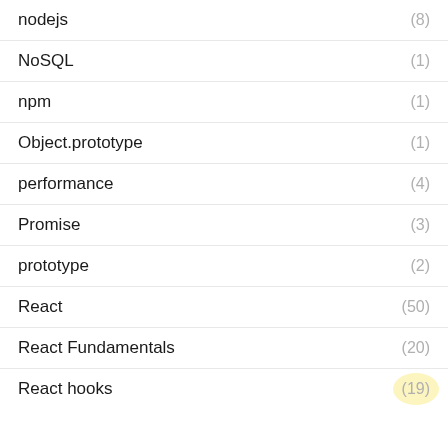nodejs (8)
NoSQL (1)
npm (1)
Object.prototype (1)
performance (4)
Promise (3)
prototype (2)
React (50)
React Fundamentals (20)
React hooks (19)